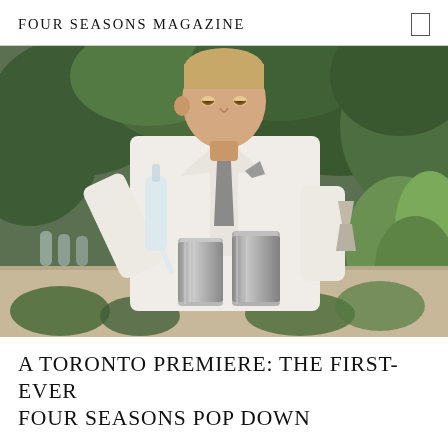FOUR SEASONS MAGAZINE
[Figure (photo): A bartender in a white suit and grey dotted tie pours liquid from a glass bottle into two stainless steel cocktail shaker cups on a wooden bar surface. Green foliage is visible in the background. The bartender holds a metal jigger in his right hand.]
A TORONTO PREMIERE: THE FIRST-EVER FOUR SEASONS POP DOWN